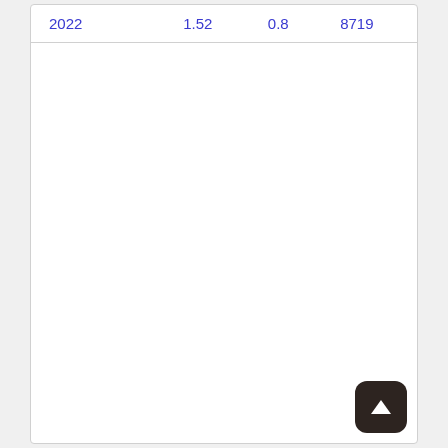| 2022 |  | 1.52 | 0.8 | 8719 |
[Figure (other): Back to top button — dark rounded square with white upward arrow]